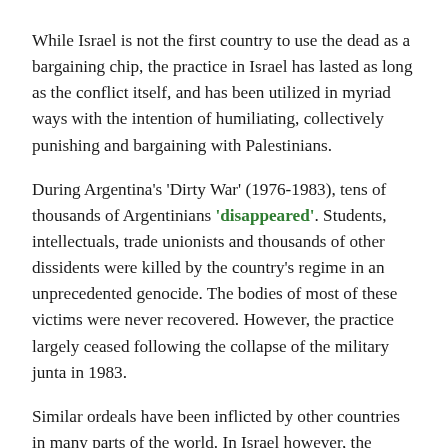While Israel is not the first country to use the dead as a bargaining chip, the practice in Israel has lasted as long as the conflict itself, and has been utilized in myriad ways with the intention of humiliating, collectively punishing and bargaining with Palestinians.
During Argentina's 'Dirty War' (1976-1983), tens of thousands of Argentinians 'disappeared'. Students, intellectuals, trade unionists and thousands of other dissidents were killed by the country's regime in an unprecedented genocide. The bodies of most of these victims were never recovered. However, the practice largely ceased following the collapse of the military junta in 1983.
Similar ordeals have been inflicted by other countries in many parts of the world. In Israel however, the practice is not linked to a specific military regime or a particular leader. The 'desaparecidos' of Palestine span several generations
To this day, Israel maintains what is known as the 'cemeteries